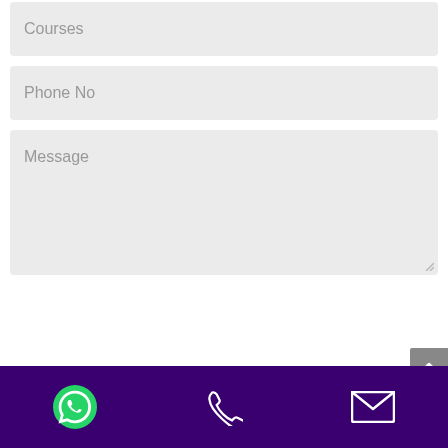Courses
Phone No
Message
[Figure (screenshot): Scroll to top button (grey arrow up button on right edge)]
[Figure (infographic): Footer bar with dark purple background containing three icons: WhatsApp icon (green), phone icon (white), and email/envelope icon (white)]